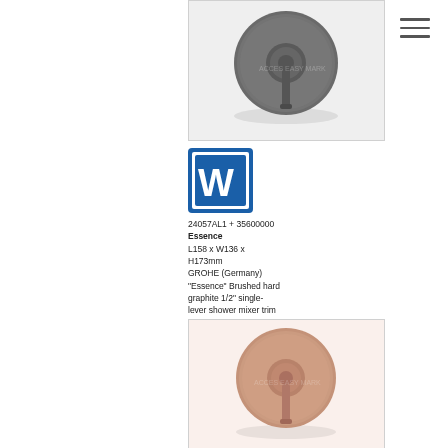[Figure (photo): GROHE Essence brushed hard graphite single-lever shower mixer trim with concealed body, circular design, top view]
[Figure (logo): Water certification/quality mark logo - blue square with white W symbol]
24057AL1 + 35600000
Essence
L158 x W136 x H173mm
GROHE (Germany)
"Essence" Brushed hard graphite 1/2" single-lever shower mixer trim with concealed body
[Figure (photo): GROHE Essence brushed warm sunset (rose gold/copper) single-lever shower mixer trim with concealed body, circular design]